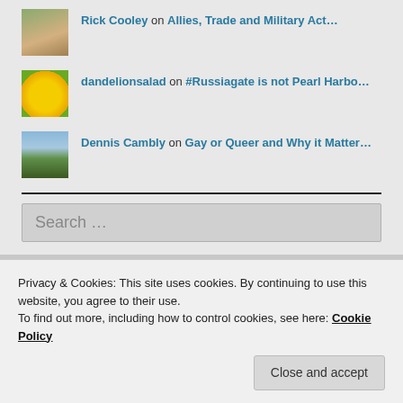Rick Cooley on Allies, Trade and Military Act...
dandelionsalad on #Russiagate is not Pearl Harbo...
Dennis Cambly on Gay or Queer and Why it Matter...
Search ...
Privacy & Cookies: This site uses cookies. By continuing to use this website, you agree to their use.
To find out more, including how to control cookies, see here: Cookie Policy
Close and accept